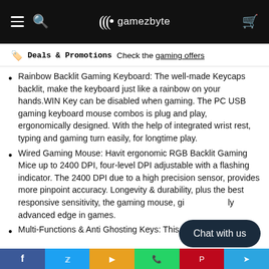gamezbyte
Deals & Promotions  Check the gaming offers
Rainbow Backlit Gaming Keyboard: The well-made Keycaps backlit, make the keyboard just like a rainbow on your hands. WIN Key can be disabled when gaming. The PC USB gaming keyboard mouse combos is plug and play, ergonomically designed. With the help of integrated wrist rest, typing and gaming turn easily, for longtime play.
Wired Gaming Mouse: Havit ergonomic RGB Backlit Gaming Mice up to 2400 DPI, four-level DPI adjustable with a flashing indicator. The 2400 DPI due to a high precision sensor, provides more pinpoint accuracy. Longevity & durability, plus the best responsive sensitivity, the gaming mouse, gives you an advanced edge in games.
Multi-Functions & Anti Ghosting Keys: This g...